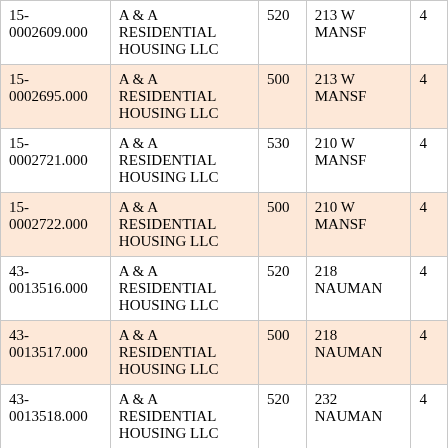| Parcel ID | Owner | Code | Address |  |
| --- | --- | --- | --- | --- |
| 15-0002609.000 | A & A RESIDENTIAL HOUSING LLC | 520 | 213 W MANSF | 4 |
| 15-0002695.000 | A & A RESIDENTIAL HOUSING LLC | 500 | 213 W MANSF | 4 |
| 15-0002721.000 | A & A RESIDENTIAL HOUSING LLC | 530 | 210 W MANSF | 4 |
| 15-0002722.000 | A & A RESIDENTIAL HOUSING LLC | 500 | 210 W MANSF | 4 |
| 43-0013516.000 | A & A RESIDENTIAL HOUSING LLC | 520 | 218 NAUMAN | 4 |
| 43-0013517.000 | A & A RESIDENTIAL HOUSING LLC | 500 | 218 NAUMAN | 4 |
| 43-0013518.000 | A & A RESIDENTIAL HOUSING LLC | 520 | 232 NAUMAN | 4 |
| 43-0013519.000 | A & A RESIDENTIAL HOUSING LLC | 500 | 232 NAUMAN | 4 |